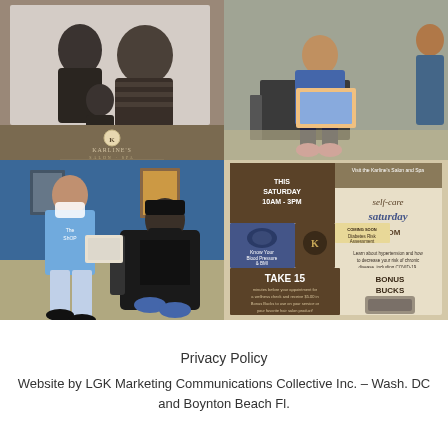[Figure (photo): Four-panel photo collage: top-left shows two women in black and white photo with Karline's Salon logo/text overlay on brown background; top-right shows a person seated in a chair holding a tablet/notebook with another person visible; bottom-left shows a woman in blue 'The Shop' shirt holding a tablet speaking with a masked man seated in a salon chair; bottom-right shows a promotional flyer for 'self-care saturday ROOM' at Karline's Salon and Spa advertising THIS SATURDAY 10AM-3PM, Know Your Blood Pressure & Body Mass Index, Diabetes Risk Assessment, TAKE 15 minutes bonus bucks offer, and special thanks to ShopBoyz and students from the L.L. Miller School of Medicine.]
Privacy Policy
Website by LGK Marketing Communications Collective Inc. – Wash. DC and Boynton Beach Fl.